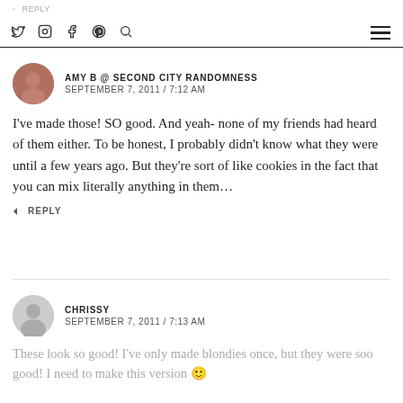← REPLY | social icons | hamburger menu
AMY B @ SECOND CITY RANDOMNESS
SEPTEMBER 7, 2011 / 7:12 AM
I've made those! SO good. And yeah- none of my friends had heard of them either. To be honest, I probably didn't know what they were until a few years ago. But they're sort of like cookies in the fact that you can mix literally anything in them…
← REPLY
CHRISSY
SEPTEMBER 7, 2011 / 7:13 AM
These look so good! I've only made blondies once, but they were soo good! I need to make this version 🙂